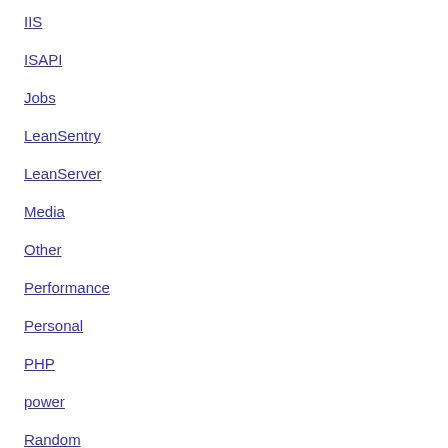IIS
ISAPI
Jobs
LeanSentry
LeanServer
Media
Other
Performance
Personal
PHP
power
Random
RubyOnRails